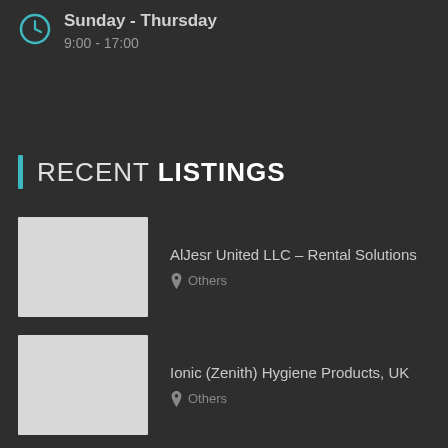Sunday - Thursday
9:00 - 17:00
RECENT LISTINGS
AlJesr United LLC – Rental Solutions
Others
Ionic (Zenith) Hygiene Products, UK
Others
Interior Fit Out contractors in Oman
Others